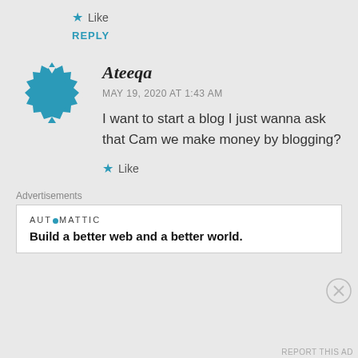★ Like
REPLY
[Figure (illustration): Blue decorative avatar icon with arrow-like spikes around a square center, resembling a star/diamond shape in teal/blue color.]
Ateeqa
MAY 19, 2020 AT 1:43 AM
I want to start a blog I just wanna ask that Cam we make money by blogging?
★ Like
Advertisements
AUTOMATTIC
Build a better web and a better world.